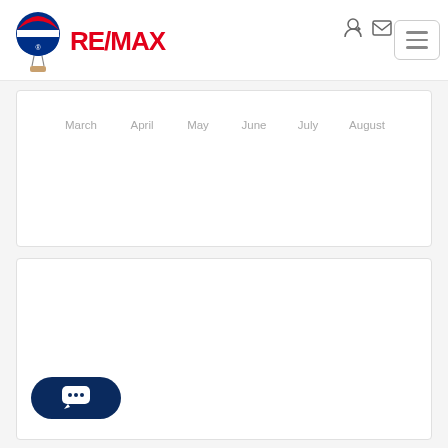[Figure (logo): RE/MAX logo with hot air balloon icon and red RE/MAX text]
March April May June July August
[Figure (other): Chat button with speech bubble icon containing ellipsis dots]